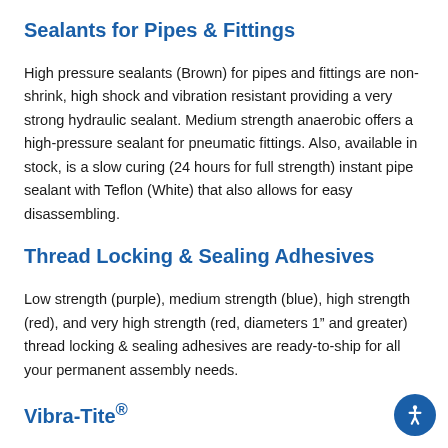Sealants for Pipes & Fittings
High pressure sealants (Brown) for pipes and fittings are non-shrink, high shock and vibration resistant providing a very strong hydraulic sealant. Medium strength anaerobic offers a high-pressure sealant for pneumatic fittings. Also, available in stock, is a slow curing (24 hours for full strength) instant pipe sealant with Teflon (White) that also allows for easy disassembling.
Thread Locking & Sealing Adhesives
Low strength (purple), medium strength (blue), high strength (red), and very high strength (red, diameters 1” and greater) thread locking & sealing adhesives are ready-to-ship for all your permanent assembly needs.
Vibra-Tite®
Vibratite is a coating for threaded fasteners that provides a